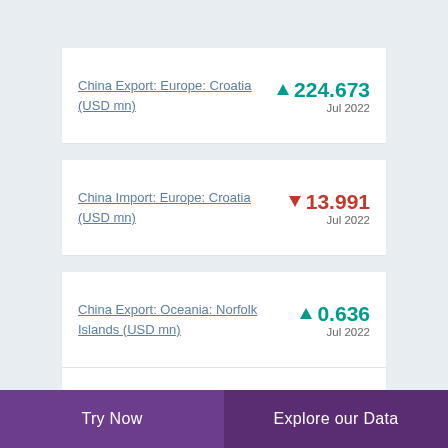China Export: Europe: Croatia (USD mn)
China Import: Europe: Croatia (USD mn)
China Export: Oceania: Norfolk Islands (USD mn)
China Export: Oceania: Palau (USD mn)
China Import: Africa: Lesotho (USD mn)
Try Now   Explore our Data